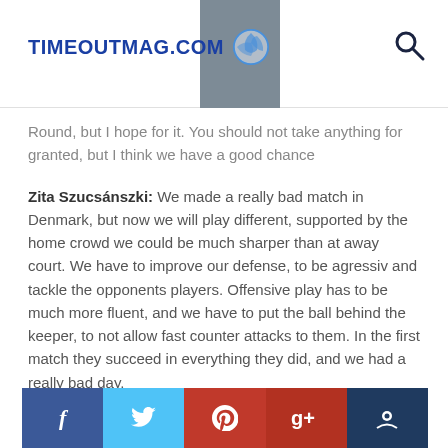TIMEOUTMAG.COM
Round, but I hope for it. You should not take anything for granted, but I think we have a good chance
Zita Szucsánszki:  We made a really bad match in Denmark, but now we will play different, supported by the home crowd we could be much sharper than at away court. We have to improve our defense, to be agressiv and tackle the opponents players. Offensive play has to be much more fluent, and we have to put the ball behind the keeper, to not allow fast counter attacks to them. In the first match they succeed in everything they did, and we had a really bad day.